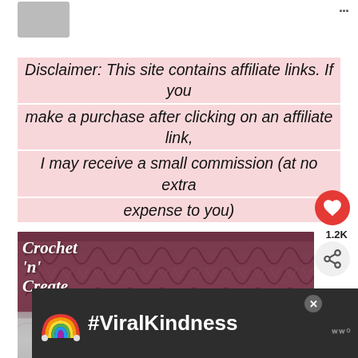Disclaimer: This site contains affiliate links. If you make a purchase after clicking on an affiliate link, I may receive a small commission (at no extra expense to you)
[Figure (photo): Crochet knitting close-up in dark rose/mauve color with Crochet 'n' Create logo overlay and a 'What's Next: Crochet Open Lace Wrap' thumbnail overlay]
#ViralKindness advertisement banner at bottom with rainbow graphic